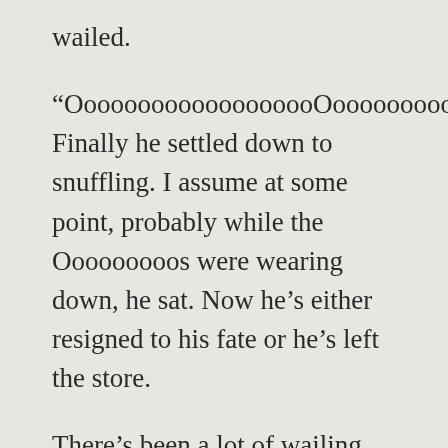wailed.
“OoooooooooooooooooOoooooooooooooooooOoooooooooooooooooo.” Finally he settled down to snuffling. I assume at some point, probably while the Ooooooooos were wearing down, he sat. Now he’s either resigned to his fate or he’s left the store.
There’s been a lot of wailing today. I don’t know why, considering the petting zoo is here. Maybe it’s tension. Maybe it’s that little kids are like adults: some